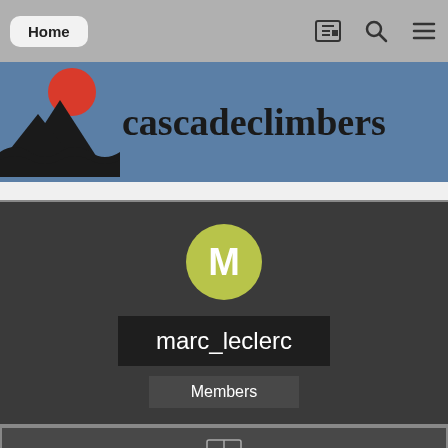Home
[Figure (logo): Cascade Climbers logo with mountain silhouette and red sun, with text 'cascadeclimbers']
[Figure (screenshot): User profile card for marc_leclerc showing avatar M, username, and Members badge]
CONTENT COUNT
1426
JOINED